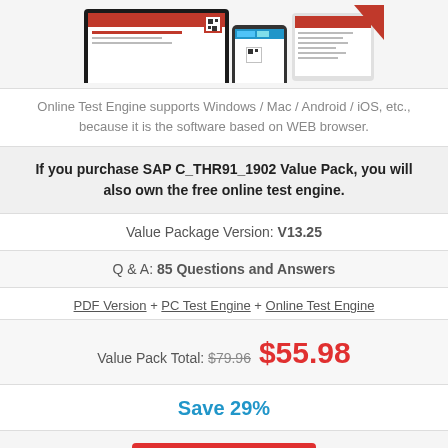[Figure (screenshot): Devices (laptop, tablet, phone) showing online test engine interface with QR code and red header]
Online Test Engine supports Windows / Mac / Android / iOS, etc., because it is the software based on WEB browser.
If you purchase SAP C_THR91_1902 Value Pack, you will also own the free online test engine.
Value Package Version: V13.25
Q & A: 85 Questions and Answers
PDF Version + PC Test Engine + Online Test Engine
Value Pack Total: $79.96  $55.98
Save 29%
Add To Cart